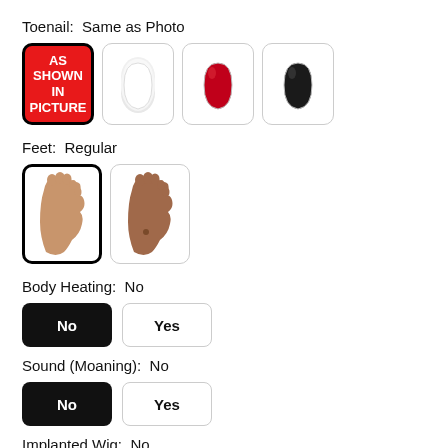Toenail:  Same as Photo
[Figure (illustration): Four toenail color option boxes: selected 'AS SHOWN IN PICTURE' (red background, black border), white nail, red nail, black nail]
Feet:  Regular
[Figure (illustration): Two foot sole option boxes: selected light skin tone foot (black border), darker skin tone foot]
Body Heating:  No
[Figure (illustration): Two buttons: selected 'No' (black background), 'Yes' (white background)]
Sound (Moaning):  No
[Figure (illustration): Two buttons: selected 'No' (black background), 'Yes' (white background)]
Implanted Wig:  No
[Figure (illustration): Two buttons partially visible at bottom: selected 'No' (black background), 'Yes' (white background)]